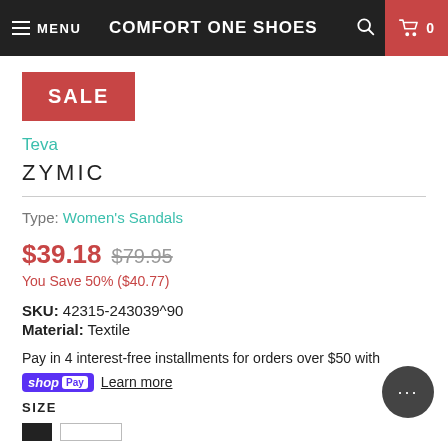MENU  COMFORT ONE SHOES  🔍 🛒 0
[Figure (other): Red SALE badge/label]
Teva
ZYMIC
Type: Women's Sandals
$39.18  $79.95
You Save 50% ($40.77)
SKU: 42315-243039^90
Material: Textile
Pay in 4 interest-free installments for orders over $50 with shop Pay  Learn more
SIZE